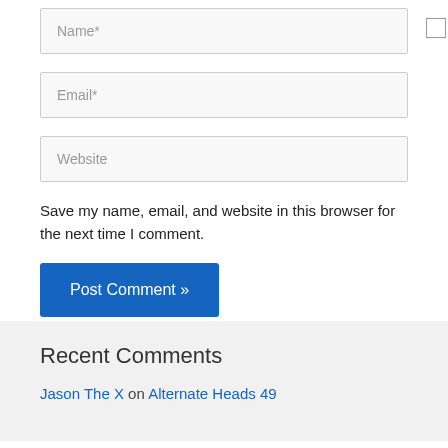[Figure (screenshot): Web form input field with placeholder text 'Name*' and a checkbox to the right]
[Figure (screenshot): Web form input field with placeholder text 'Email*']
[Figure (screenshot): Web form input field with placeholder text 'Website']
Save my name, email, and website in this browser for the next time I comment.
[Figure (screenshot): Blue button labeled 'Post Comment »']
Recent Comments
Jason The X on Alternate Heads 49